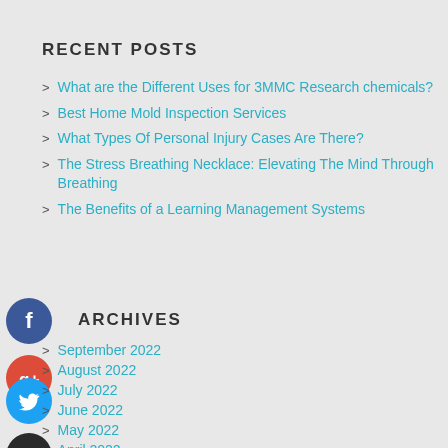RECENT POSTS
What are the Different Uses for 3MMC Research chemicals?
Best Home Mold Inspection Services
What Types Of Personal Injury Cases Are There?
The Stress Breathing Necklace: Elevating The Mind Through Breathing
The Benefits of a Learning Management Systems
[Figure (illustration): Facebook social icon - blue circle with white F]
[Figure (illustration): Google Plus social icon - red circle with white g+]
[Figure (illustration): Twitter social icon - blue circle with white bird]
[Figure (illustration): Plus/add social icon - dark circle with white +]
ARCHIVES
September 2022
August 2022
July 2022
June 2022
May 2022
April 2022